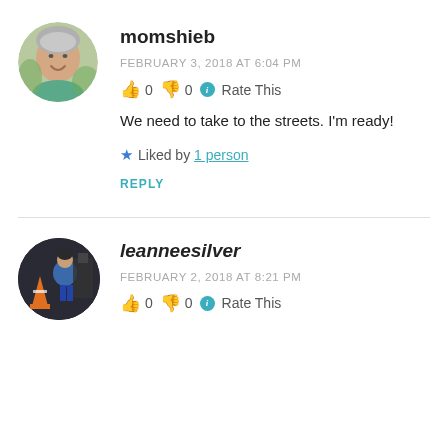[Figure (photo): Circular avatar photo of a woman with short grey hair, smiling, outdoors]
momshieb
FEBRUARY 3, 2018 AT 6:04 PM
👍 0 👎 0 ℹ Rate This
We need to take to the streets. I'm ready!
★ Liked by 1 person
REPLY
[Figure (photo): Circular avatar photo of a person in blue jacket near orange traffic cones]
leanneesilver
FEBRUARY 2, 2018 AT 8:21 PM
👍 0 👎 0 ℹ Rate This